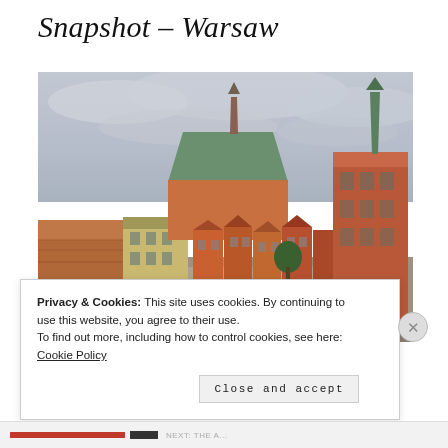Snapshot – Warsaw
[Figure (photo): Aerial/elevated view of Warsaw Old Town square showing colorful historic buildings with red roofs, a large church with green roof, the Royal Castle tower on the right, and a cobblestone market square below under an overcast sky.]
Privacy & Cookies: This site uses cookies. By continuing to use this website, you agree to their use.
To find out more, including how to control cookies, see here: Cookie Policy
Close and accept